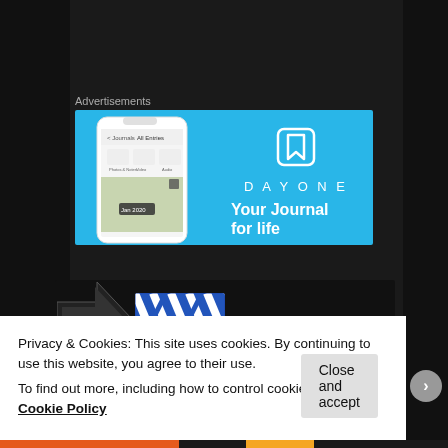Advertisements
[Figure (screenshot): DayOne app advertisement banner on a blue background showing a phone mockup with the DayOne journal app interface, the DayOne logo icon (bookmark in square), the text DAYONE, and tagline 'Your Journal for life']
[Figure (screenshot): Dark background content area showing an arrow graphic and a colorful logo with blue and white diagonal pattern]
Privacy & Cookies: This site uses cookies. By continuing to use this website, you agree to their use.
To find out more, including how to control cookies, see here: Cookie Policy
[Figure (other): Close and accept button (grey rounded rectangle button)]